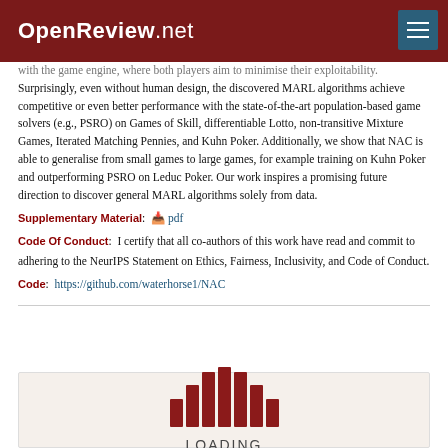OpenReview.net
with the game engine, where both players aim to minimise their exploitability. Surprisingly, even without human design, the discovered MARL algorithms achieve competitive or even better performance with the state-of-the-art population-based game solvers (e.g., PSRO) on Games of Skill, differentiable Lotto, non-transitive Mixture Games, Iterated Matching Pennies, and Kuhn Poker. Additionally, we show that NAC is able to generalise from small games to large games, for example training on Kuhn Poker and outperforming PSRO on Leduc Poker. Our work inspires a promising future direction to discover general MARL algorithms solely from data.
Supplementary Material: pdf
Code Of Conduct: I certify that all co-authors of this work have read and commit to adhering to the NeurIPS Statement on Ethics, Fairness, Inclusivity, and Code of Conduct.
Code: https://github.com/waterhorse1/NAC
[Figure (infographic): Loading spinner with vertical bars of varying heights in dark red color, with 'LOADING' text below, on a light beige background.]